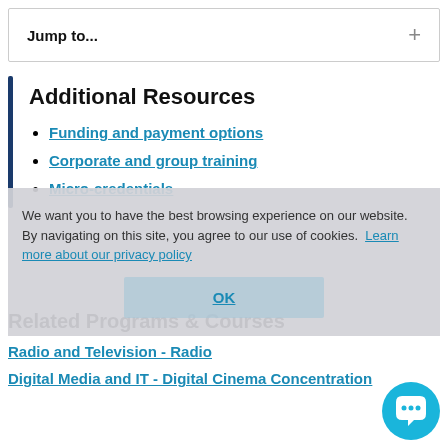Jump to...
Additional Resources
Funding and payment options
Corporate and group training
Micro-credentials
We want you to have the best browsing experience on our website. By navigating on this site, you agree to our use of cookies. Learn more about our privacy policy
OK
Related Programs & Courses
Radio and Television - Radio
Digital Media and IT - Digital Cinema Concentration